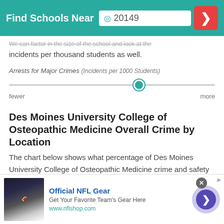Find Schools Near 20149
We can factor in the size of the school and look at the incidents per thousand students as well.
Arrests for Major Crimes (Incidents per 1000 Students)
[Figure (other): A horizontal slider control with a teal/green circular thumb positioned approximately 65% from the left. Labels read 'fewer' on the left and 'more' on the right.]
Des Moines University College of Osteopathic Medicine Overall Crime by Location
The chart below shows what percentage of Des Moines University College of Osteopathic Medicine crime and safety incidents happened in each location.
Official NFL Gear
Get Your Favorite Team's Gear Here
www.nflshop.com